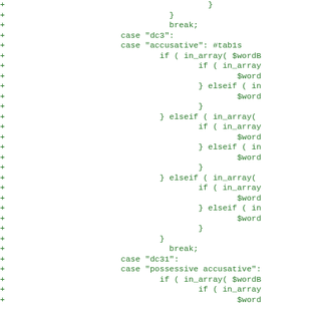Diff view of source code showing added lines with + markers, PHP code with case statements and in_array calls